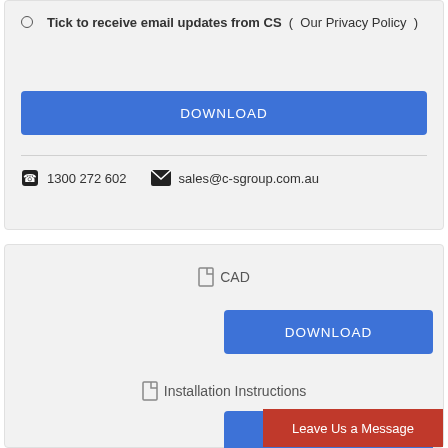Tick to receive email updates from CS ( Our Privacy Policy )
DOWNLOAD
1300 272 602   sales@c-sgroup.com.au
CAD
DOWNLOAD
Installation Instructions
DOWNLOAD
Leave Us a Message